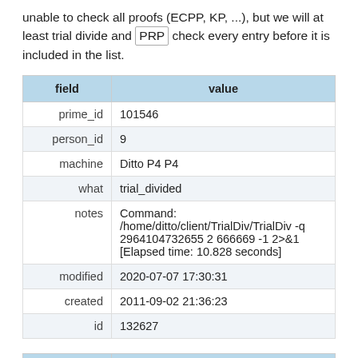unable to check all proofs (ECPP, KP, ...), but we will at least trial divide and PRP check every entry before it is included in the list.
| field | value |
| --- | --- |
| prime_id | 101546 |
| person_id | 9 |
| machine | Ditto P4 P4 |
| what | trial_divided |
| notes | Command: /home/ditto/client/TrialDiv/TrialDiv -q 2964104732655 2 666669 -1 2>&1 [Elapsed time: 10.828 seconds] |
| modified | 2020-07-07 17:30:31 |
| created | 2011-09-02 21:36:23 |
| id | 132627 |
| field | value |
| --- | --- |
| prime_id | 101546 |